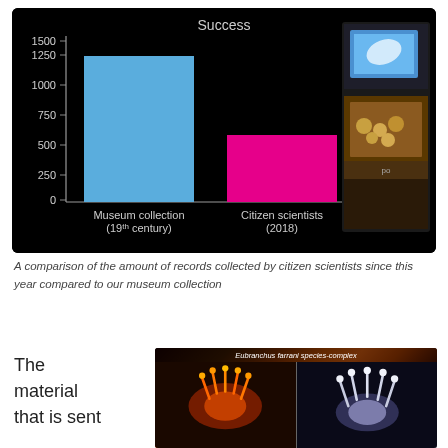[Figure (bar-chart): Success]
A comparison of the amount of records collected by citizen scientists since this year compared to our museum collection
The material that is sent
[Figure (photo): Eubranchus farrani species-complex — two photographs side by side showing the nudibranch species, left image with orange/warm coloring, right image with pale/white coloring]